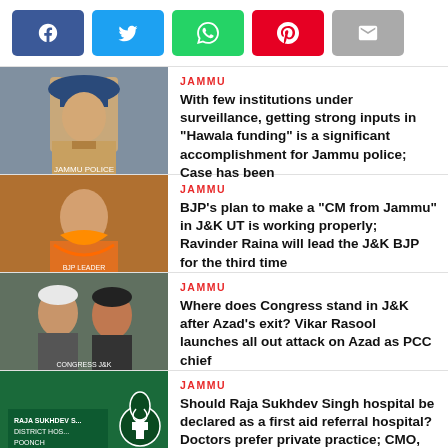[Figure (other): Social sharing buttons: Facebook, Twitter, WhatsApp, Pinterest, Email]
JAMMU
With few institutions under surveillance, getting strong inputs in “Hawala funding” is a significant accomplishment for Jammu police; Case has been transferred to District administration for...
JAMMU
BJP’s plan to make a “CM from Jammu” in J&K UT is working properly; Ravinder Raina will lead the J&K BJP for the third time
JAMMU
Where does Congress stand in J&K after Azad’s exit? Vikar Rasool launches all out attack on Azad as PCC chief
JAMMU
Should Raja Sukhdev Singh hospital be declared as a first aid referral hospital? Doctors prefer private practice; CMO, MS...